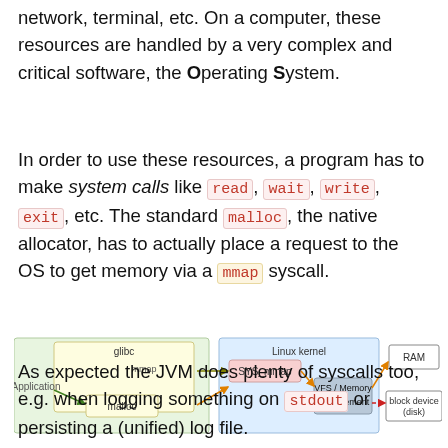network, terminal, etc. On a computer, these resources are handled by a very complex and critical software, the Operating System.
In order to use these resources, a program has to make system calls like read, wait, write, exit, etc. The standard malloc, the native allocator, has to actually place a request to the OS to get memory via a mmap syscall.
[Figure (flowchart): Flowchart showing Application calling glibc (with mmap and malloc boxes), which calls SYS_mmap in the Linux kernel, which calls VFS/Memory management, which connects via solid arrow to RAM and dashed arrow to block device (disk).]
As expected the JVM does plenty of syscalls too, e.g. when logging something on stdout or persisting a (unified) log file.